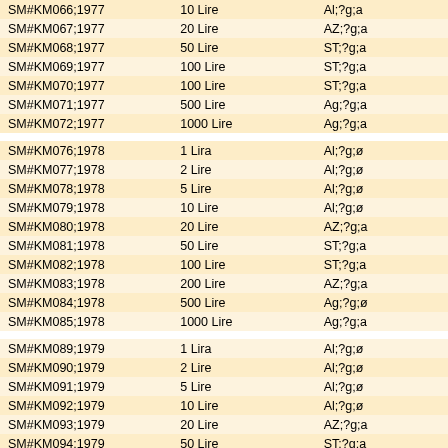| SM#KM066;1977 | 10 Lire | Al;?g;a |
| SM#KM067;1977 | 20 Lire | AZ;?g;a |
| SM#KM068;1977 | 50 Lire | ST;?g;a |
| SM#KM069;1977 | 100 Lire | ST;?g;a |
| SM#KM070;1977 | 100 Lire | ST;?g;a |
| SM#KM071;1977 | 500 Lire | Ag;?g;a |
| SM#KM072;1977 | 1000 Lire | Ag;?g;a |
|  |  |  |
| SM#KM076;1978 | 1 Lira | Al;?g;ø |
| SM#KM077;1978 | 2 Lire | Al;?g;ø |
| SM#KM078;1978 | 5 Lire | Al;?g;ø |
| SM#KM079;1978 | 10 Lire | Al;?g;ø |
| SM#KM080;1978 | 20 Lire | AZ;?g;a |
| SM#KM081;1978 | 50 Lire | ST;?g;a |
| SM#KM082;1978 | 100 Lire | ST;?g;a |
| SM#KM083;1978 | 200 Lire | AZ;?g;a |
| SM#KM084;1978 | 500 Lire | Ag;?g;ø |
| SM#KM085;1978 | 1000 Lire | Ag;?g;a |
|  |  |  |
| SM#KM089;1979 | 1 Lira | Al;?g;ø |
| SM#KM090;1979 | 2 Lire | Al;?g;ø |
| SM#KM091;1979 | 5 Lire | Al;?g;ø |
| SM#KM092;1979 | 10 Lire | Al;?g;ø |
| SM#KM093;1979 | 20 Lire | AZ;?g;a |
| SM#KM094;1979 | 50 Lire | ST;?g;a |
| SM#KM095;1979 | 100 Lire | ST;?g;a |
| SM#KM096;1979 | 200 Lire | AZ;?g;a |
| SM#KM097;1979 | 500 Lire | Ag;?g;a |
| SM#KM098;1979 | 1000 Lire | Ag;?g;a |